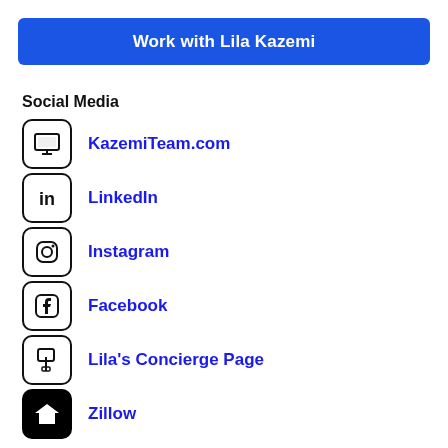Work with Lila Kazemi
Social Media
KazemiTeam.com
LinkedIn
Instagram
Facebook
Lila's Concierge Page
Zillow